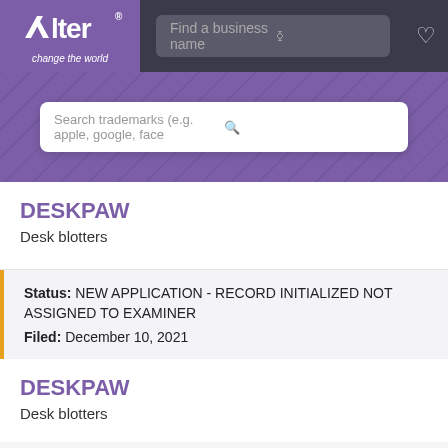[Figure (logo): Alter logo with 'change the world' tagline on purple background]
Find a business name
Search trademarks (e.g. apple, google, face
DESKPAW
Desk blotters
Status: NEW APPLICATION - RECORD INITIALIZED NOT ASSIGNED TO EXAMINER
Filed: December 10, 2021
DESKPAW
Desk blotters